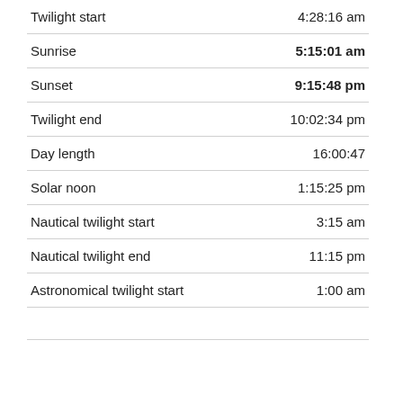|  |  |
| --- | --- |
| Twilight start | 4:28:16 am |
| Sunrise | 5:15:01 am |
| Sunset | 9:15:48 pm |
| Twilight end | 10:02:34 pm |
| Day length | 16:00:47 |
| Solar noon | 1:15:25 pm |
| Nautical twilight start | 3:15 am |
| Nautical twilight end | 11:15 pm |
| Astronomical twilight start | 1:00 am |